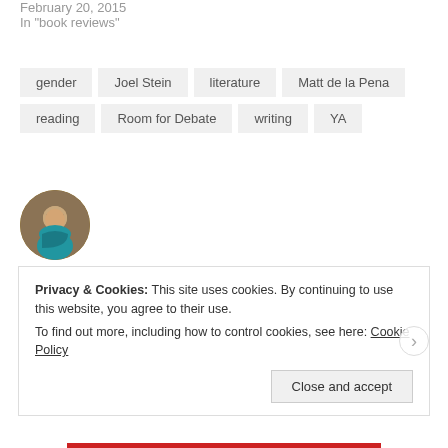February 20, 2015
In "book reviews"
gender
Joel Stein
literature
Matt de la Pena
reading
Room for Debate
writing
YA
[Figure (photo): Circular avatar photo of Molly Wetta, a woman with glasses wearing a teal/blue jacket]
Published by Molly Wetta
Feminist gemini vegetarian librarian. View all posts by Molly Wetta
Privacy & Cookies: This site uses cookies. By continuing to use this website, you agree to their use.
To find out more, including how to control cookies, see here: Cookie Policy
Close and accept